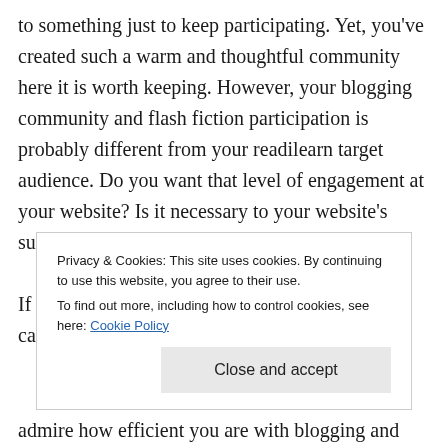to something just to keep participating. Yet, you've created such a warm and thoughtful community here it is worth keeping. However, your blogging community and flash fiction participation is probably different from your readilearn target audience. Do you want that level of engagement at your website? Is it necessary to your website's success?

If not, I think Geoff has an elegant solution. You can broadcast on readilearn and then re-post
Privacy & Cookies: This site uses cookies. By continuing to use this website, you agree to their use.
To find out more, including how to control cookies, see here: Cookie Policy
admire how efficient you are with blogging and